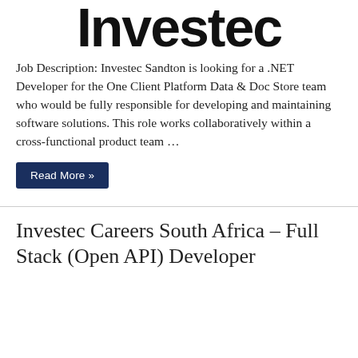[Figure (logo): Investec logo in large bold black text, partially cropped at top]
Job Description: Investec Sandton is looking for a .NET Developer for the One Client Platform Data & Doc Store team who would be fully responsible for developing and maintaining software solutions. This role works collaboratively within a cross-functional product team …
Read More »
Investec Careers South Africa – Full Stack (Open API) Developer